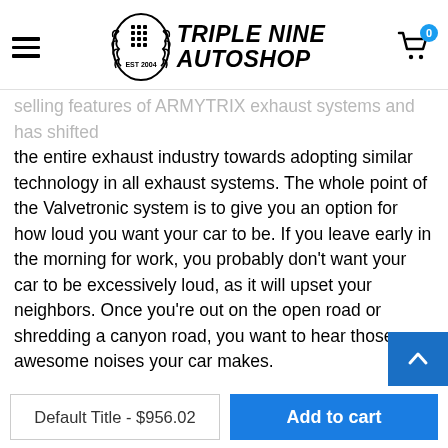Triple Nine Autoshop — EST 2004
selling features of ARMYTRIX exhaust systems and has shifted the entire exhaust industry towards adopting similar technology in all exhaust systems. The whole point of the Valvetronic system is to give you an option for how loud you want your car to be. If you leave early in the morning for work, you probably don't want your car to be excessively loud, as it will upset your neighbors. Once you're out on the open road or shredding a canyon road, you want to hear those awesome noises your car makes.
The Valvetronic system allows you to switch between being quiet and being loud with the push of a button via the included remote or through the smartphone application; this works by tapping into a vacuum source on your engine and connecting it to the control module. When you press the button on the remote or smartphone
Default Title - $956.02
Add to cart